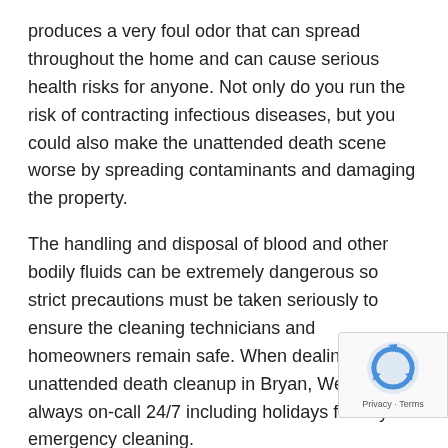produces a very foul odor that can spread throughout the home and can cause serious health risks for anyone. Not only do you run the risk of contracting infectious diseases, but you could also make the unattended death scene worse by spreading contaminants and damaging the property.
The handling and disposal of blood and other bodily fluids can be extremely dangerous so strict precautions must be taken seriously to ensure the cleaning technicians and homeowners remain safe. When dealing with unattended death cleanup in Bryan, We are always on-call 24/7 including holidays for any emergency cleaning.
Unattended Death Services;
Assessing the scene and making sure you and your family are safe
Creating a plan to remove all biohazard waste and disinfect the entire property